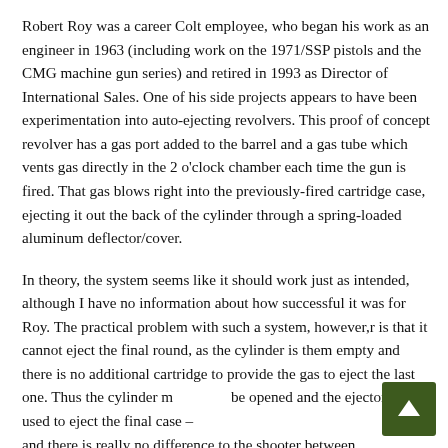Robert Roy was a career Colt employee, who began his work as an engineer in 1963 (including work on the 1971/SSP pistols and the CMG machine gun series) and retired in 1993 as Director of International Sales. One of his side projects appears to have been experimentation into auto-ejecting revolvers. This proof of concept revolver has a gas port added to the barrel and a gas tube which vents gas directly in the 2 o'clock chamber each time the gun is fired. That gas blows right into the previously-fired cartridge case, ejecting it out the back of the cylinder through a spring-loaded aluminum deflector/cover.
In theory, the system seems like it should work just as intended, although I have no information about how successful it was for Roy. The practical problem with such a system, however,r is that it cannot eject the final round, as the cylinder is them empty and there is no additional cartridge to provide the gas to eject the last one. Thus the cylinder must be opened and the ejector rod used to eject the final case – and there is really no difference to the shooter between